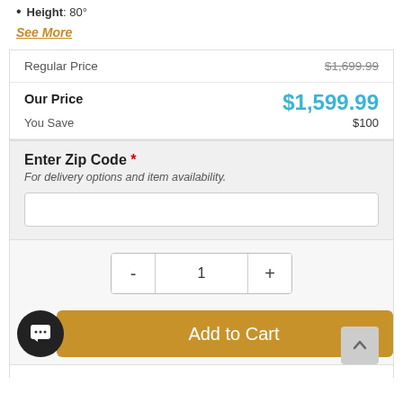Height: 80°
See More
| Regular Price | $1,699.99 |
| Our Price | $1,599.99 |
| You Save | $100 |
Enter Zip Code * For delivery options and item availability.
Add to Cart